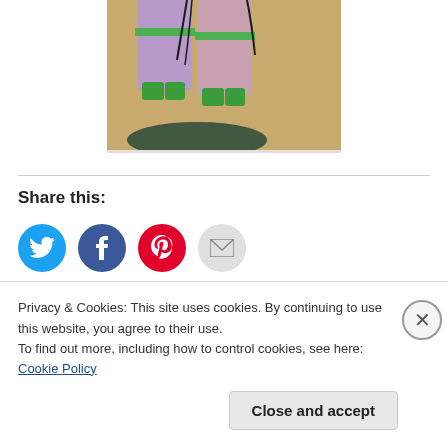[Figure (illustration): Bottom portion of a colorful artwork/illustration showing two figures in purple and pink clothing with green accessories, standing on a golden/tan background with a dark shadow at their feet]
Share this:
[Figure (infographic): Social sharing icons: Twitter (blue circle), Facebook (blue circle), Pinterest (red circle), Email (gray circle)]
Privacy & Cookies: This site uses cookies. By continuing to use this website, you agree to their use.
To find out more, including how to control cookies, see here: Cookie Policy
Close and accept